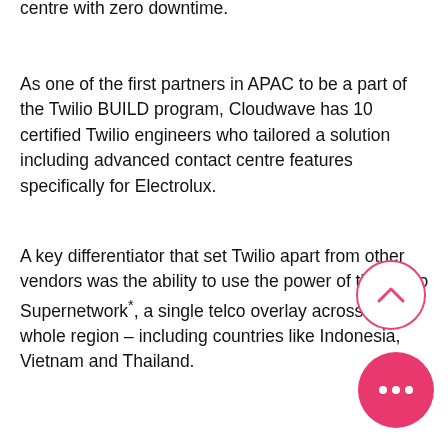centre with zero downtime.
As one of the first partners in APAC to be a part of the Twilio BUILD program, Cloudwave has 10 certified Twilio engineers who tailored a solution including advanced contact centre features specifically for Electrolux.
A key differentiator that set Twilio apart from other vendors was the ability to use the power of the Twilio Supernetwork*, a single telco overlay across the whole region – including countries like Indonesia, Vietnam and Thailand.
The rollout was managed as a phased approach, starting with 80 agents in Australia followed by an additional 7 countries and 300 agents in APAC.
Once the implementation was complete, there was a focus on change management. Agents and managers needed to be trained